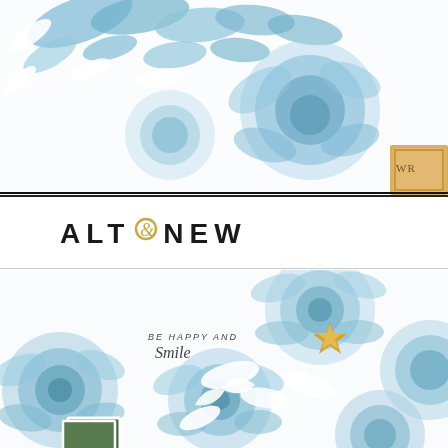[Figure (photo): Top cropped photo showing a scrapbook layout with blue watercolor leaves and flowers on white background, with a wooden frame element in the top right corner partially showing the letters 'WR']
[Figure (logo): Altenew brand logo with stylized ampersand in gold/yellow italic script between ALT and NEW in bold black uppercase letters with wide letter-spacing]
[Figure (photo): Bottom cropped photo showing a scrapbook layout with large blue watercolor flowers, white die-cut leaves, a gold wooden star embellishment, and a small photo in the bottom left. Text reads 'BE HAPPY AND Smile' in mixed script and print lettering.]